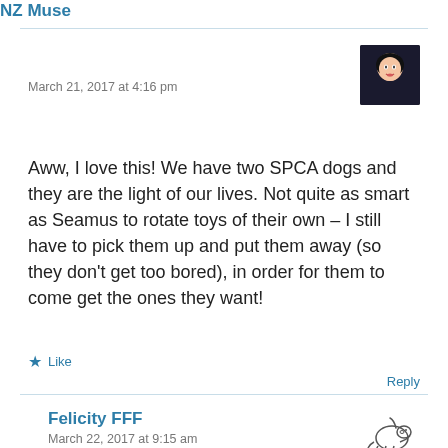NZ Muse
March 21, 2017 at 4:16 pm
[Figure (photo): Avatar image of NZ Muse, a stylized illustration of a woman with dark hair and red lips]
Aww, I love this! We have two SPCA dogs and they are the light of our lives. Not quite as smart as Seamus to rotate toys of their own – I still have to pick them up and put them away (so they don't get too bored), in order for them to come get the ones they want!
Like
Reply
Felicity FFF
March 22, 2017 at 9:15 am
[Figure (illustration): Small line drawing illustration of a dog]